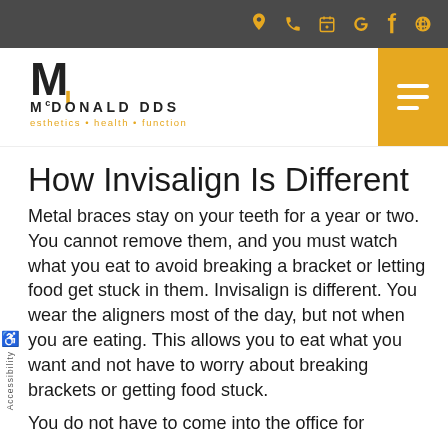McDonald DDS - top navigation bar with icons
[Figure (logo): McDonald DDS logo with M lettermark and tagline: esthetics • health • function]
How Invisalign Is Different
Metal braces stay on your teeth for a year or two. You cannot remove them, and you must watch what you eat to avoid breaking a bracket or letting food get stuck in them. Invisalign is different. You wear the aligners most of the day, but not when you are eating. This allows you to eat what you want and not have to worry about breaking brackets or getting food stuck.
You do not have to come into the office for